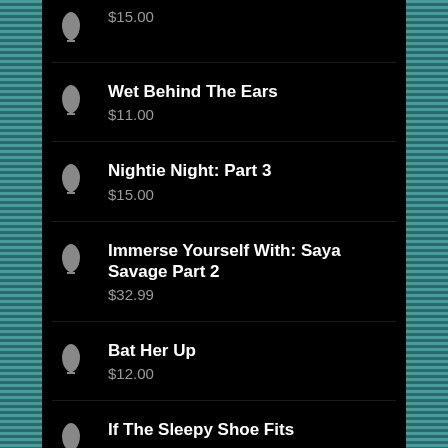$15.00
Wet Behind The Ears
$11.00
Nightie Night: Part 3
$15.00
Immerse Yourself With: Saya Savage Part 2
$32.99
Bat Her Up
$12.00
If The Sleepy Shoe Fits
$15.00 $10.00